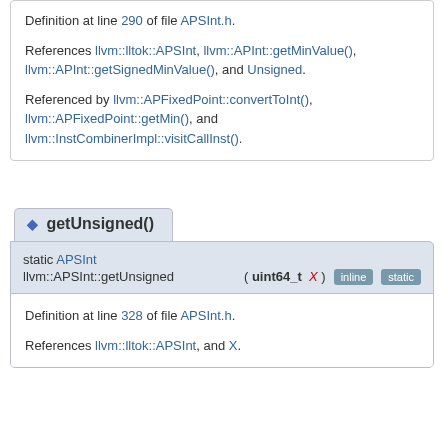Definition at line 290 of file APSInt.h.
References llvm::lltok::APSInt, llvm::APInt::getMinValue(), llvm::APInt::getSignedMinValue(), and Unsigned.
Referenced by llvm::APFixedPoint::convertToInt(), llvm::APFixedPoint::getMin(), and llvm::InstCombinerImpl::visitCallInst().
◆ getUnsigned()
static APInt llvm::APSInt::getUnsigned ( uint64_t X )  inline static
Definition at line 328 of file APSInt.h.
References llvm::lltok::APSInt, and X.